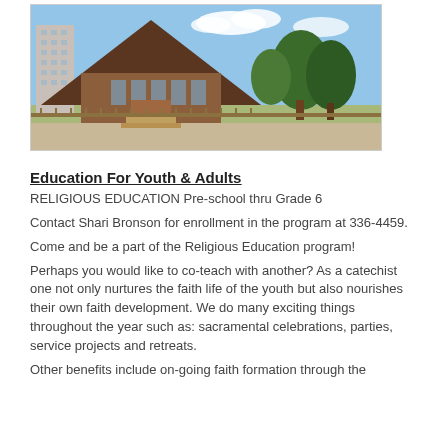[Figure (photo): Exterior photo of a church building with an A-frame roof, a tall residential tower building to the left, trees to the right, and a fence in the foreground under a blue sky.]
Education For Youth & Adults
RELIGIOUS EDUCATION Pre-school thru Grade 6
Contact Shari Bronson for enrollment in the program at 336-4459.
Come and be a part of the Religious Education program!
Perhaps you would like to co-teach with another? As a catechist one not only nurtures the faith life of the youth but also nourishes their own faith development. We do many exciting things throughout the year such as: sacramental celebrations, parties, service projects and retreats.
Other benefits include on-going faith formation through the